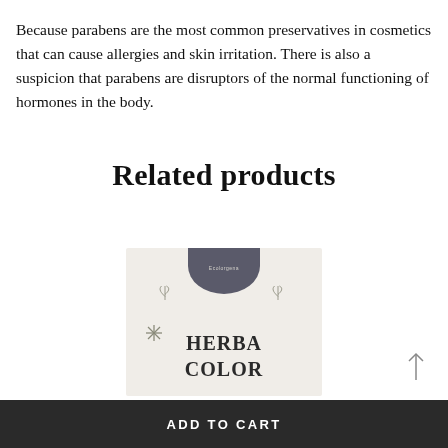Because parabens are the most common preservatives in cosmetics that can cause allergies and skin irritation. There is also a suspicion that parabens are disruptors of the normal functioning of hormones in the body.
Related products
[Figure (photo): Product package photo showing 'HERBA COLOR' text with botanical leaf illustrations and a dark semicircle at top, on a light cream background]
ADD TO CART